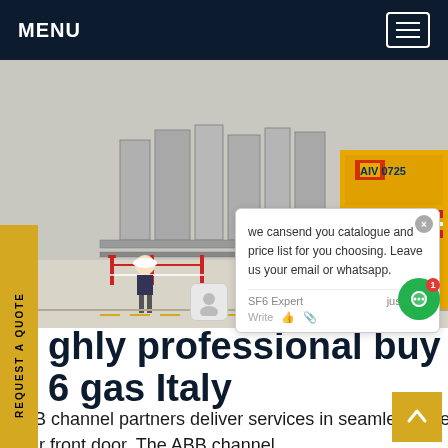MENU
[Figure (photo): Industrial electrical substation or switchgear facility with a worker in a hard hat, orange safety barriers, large yellow truck or equipment vehicle in background with marking '0725'. Various grey electrical equipment enclosures and piping visible.]
REQUEST A QUOTE
we cansend you catalogue and price list for you choosing. Leave us your email or whatsapp.
ghly professional buy 6 gas Italy
ABB channel partners deliver services in seamless cooperation with ABB. They bring ABB's products & services straight to your front door. The ABB channel